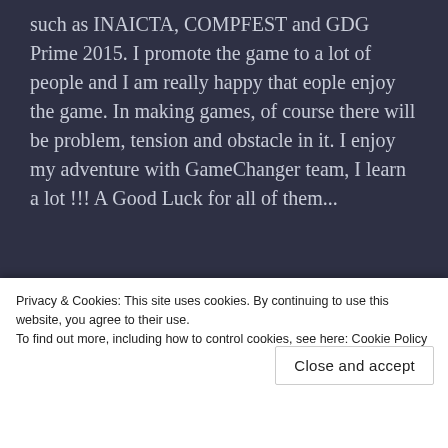such as INAICTA, COMPFEST and GDG Prime 2015. I promote the game to a lot of people and I am really happy that eople enjoy the game. In making games, of course there will be problem, tension and obstacle in it. I enjoy my adventure with GameChanger team, I learn a lot !!! A Good Luck for all of them...
[Figure (other): WordPress.com advertisement banner with gradient background (purple to pink). Left side text: 'Simplified pricing for everything you need.' Right side: WordPress.com logo and text.]
REPORT THIS AD
Regards,
Privacy & Cookies: This site uses cookies. By continuing to use this website, you agree to their use.
To find out more, including how to control cookies, see here: Cookie Policy
Close and accept